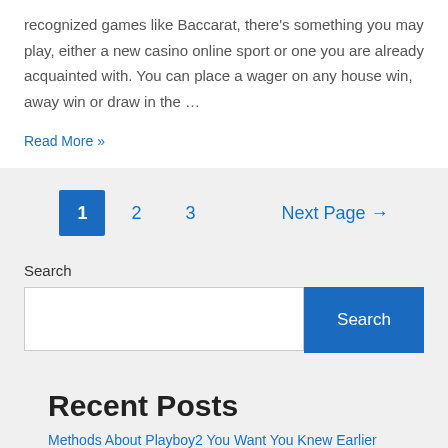recognized games like Baccarat, there's something you may play, either a new casino online sport or one you are already acquainted with. You can place a wager on any house win, away win or draw in the …
Read More »
1
2
3
Next Page →
Search
Search
Recent Posts
Methods About Playboy2 You Want You Knew Earlier